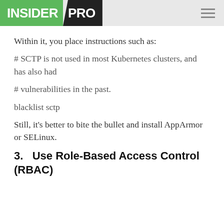INSIDER PRO
Within it, you place instructions such as:
# SCTP is not used in most Kubernetes clusters, and has also had
# vulnerabilities in the past.
blacklist sctp
Still, it's better to bite the bullet and install AppArmor or SELinux.
3.   Use Role-Based Access Control (RBAC)